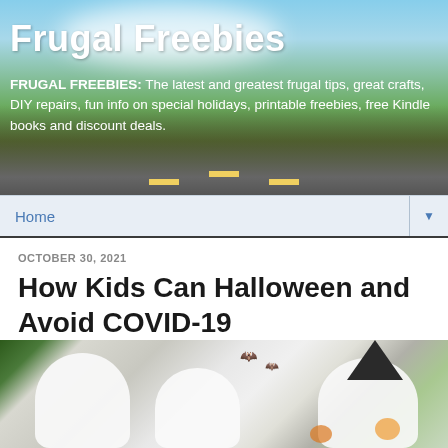Frugal Freebies
FRUGAL FREEBIES: The latest and greatest frugal tips, great crafts, DIY repairs, fun info on special holidays, printable freebies, free Kindle books and discount deals.
Home
OCTOBER 30, 2021
How Kids Can Halloween and Avoid COVID-19
[Figure (photo): Three children dressed as ghosts in white sheets, one wearing a witch hat, standing in a Halloween-decorated room with bats on the wall]